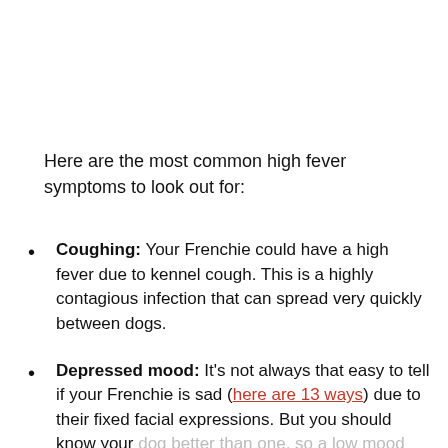Here are the most common high fever symptoms to look out for:
Coughing: Your Frenchie could have a high fever due to kennel cough. This is a highly contagious infection that can spread very quickly between dogs.
Depressed mood: It's not always that easy to tell if your Frenchie is sad (here are 13 ways) due to their fixed facial expressions. But you should know your dog better than one, so a low mood could be a fever.